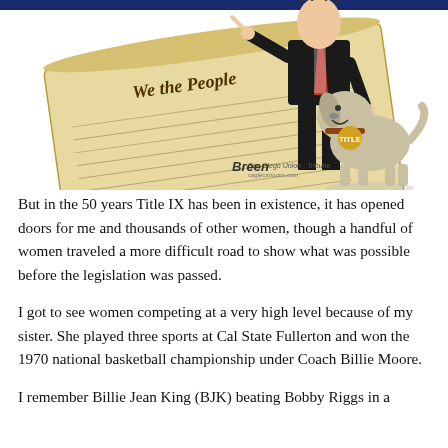[Figure (illustration): Editorial cartoon showing a figure in a dark suit with a red tie pointing at a scroll labeled 'We the People' (the Constitution), with a dog wearing a collar tag on the right. Signed by the artist with 'San Diego Union-Tribune' text.]
But in the 50 years Title IX has been in existence, it has opened doors for me and thousands of other women, though a handful of women traveled a more difficult road to show what was possible before the legislation was passed.
I got to see women competing at a very high level because of my sister. She played three sports at Cal State Fullerton and won the 1970 national basketball championship under Coach Billie Moore.
I remember Billie Jean King (BJK) beating Bobby Riggs in a